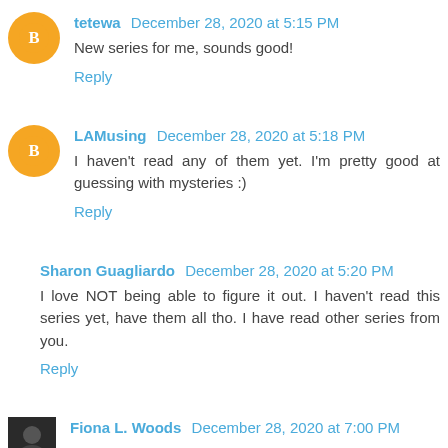tetewa December 28, 2020 at 5:15 PM
New series for me, sounds good!
Reply
LAMusing December 28, 2020 at 5:18 PM
I haven't read any of them yet. I'm pretty good at guessing with mysteries :)
Reply
Sharon Guagliardo December 28, 2020 at 5:20 PM
I love NOT being able to figure it out. I haven't read this series yet, have them all tho. I have read other series from you.
Reply
Fiona L. Woods December 28, 2020 at 7:00 PM